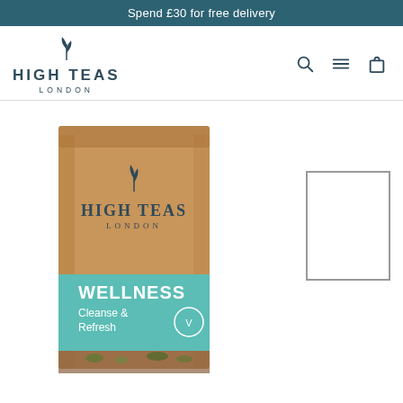Spend £30 for free delivery
[Figure (logo): High Teas London logo with leaf icon, brand name and London subtitle]
[Figure (photo): Brown kraft paper bag of High Teas London Wellness Cleanse & Refresh tea with teal label and vegan symbol, partially cut off at the bottom]
[Figure (other): Partial rectangle outline on the right side, appears to be a cropped secondary product image thumbnail]